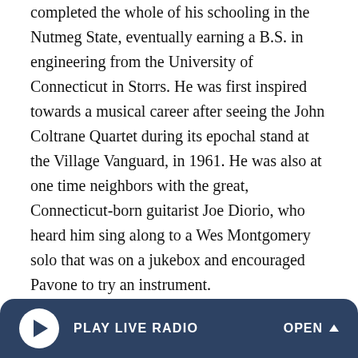completed the whole of his schooling in the Nutmeg State, eventually earning a B.S. in engineering from the University of Connecticut in Storrs. He was first inspired towards a musical career after seeing the John Coltrane Quartet during its epochal stand at the Village Vanguard, in 1961. He was also at one time neighbors with the great, Connecticut-born guitarist Joe Diorio, who heard him sing along to a Wes Montgomery solo that was on a jukebox and encouraged Pavone to try an instrument.
Pavone moved to New York and began making an impact on the "Loft Jazz" scene of the late '60s and early '70s, a lower Manhattan network of performance spaces that showcased new and ambitious sounds outside of the genre's mainstream. He said that he developed his tone out of necessity, because...
[Figure (screenshot): A radio player bar at the bottom of the screen with a dark navy/blue rounded top background, showing a white circular play button on the left, 'PLAY LIVE RADIO' text in white bold letters, and 'OPEN ^' on the right.]